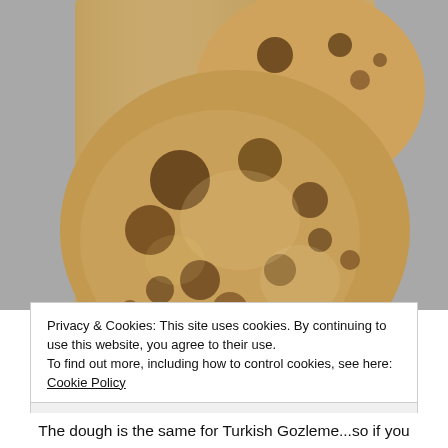[Figure (photo): Two round Turkish Gozleme flatbreads with golden-brown charred spots on a wooden cutting board]
Privacy & Cookies: This site uses cookies. By continuing to use this website, you agree to their use.
To find out more, including how to control cookies, see here: Cookie Policy
Close and accept
The dough is the same for Turkish Gozleme...so if you